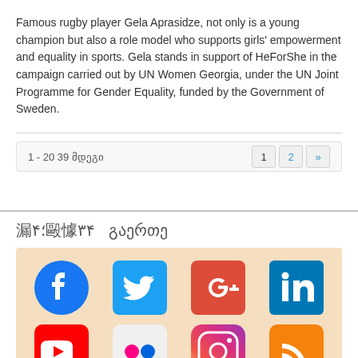Famous rugby player Gela Aprasidze, not only is a young champion but also a role model who supports girls' empowerment and equality in sports. Gela stands in support of HeForShe in the campaign carried out by UN Women Georgia, under the UN Joint Programme for Gender Equality, funded by the Government of Sweden.
1 - 20 39 მდე
haerthe
[Figure (infographic): Social media icons grid: Facebook, Twitter, Google+, LinkedIn (top row); YouTube, Flickr, Instagram, RSS (bottom row, partially visible)]